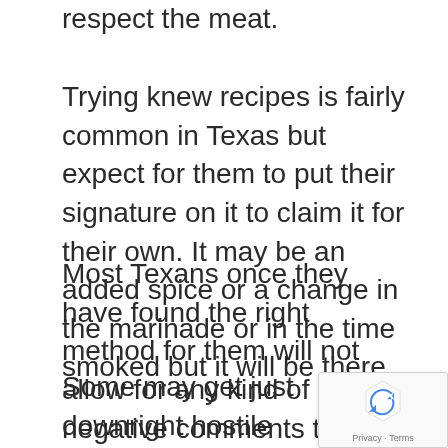respect the meat.
Trying knew recipes is fairly common in Texas but expect for them to put their signature on it to claim it for their own. It may be an added spice or a change in the marinade or in the time smoked but it will be there.
Most Texans once they have found the right method for them will not allow for any kind of negative comments to what they love.
Some may get just downright hostile to you if you do not like their version of smoking. They are fiercely proud of their accomplishments.
[Figure (logo): reCAPTCHA badge with recycling-arrow logo and Privacy - Terms text]